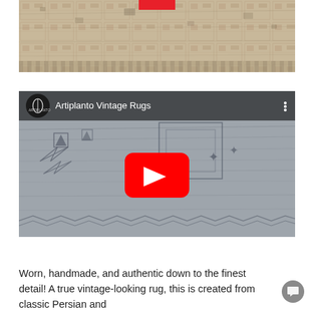[Figure (photo): Close-up photo of a worn vintage Persian rug with geometric patterns in beige, brown, and cream tones. A small red chip/tab is visible at the top center.]
[Figure (screenshot): YouTube video embed thumbnail showing 'Artiplanto Vintage Rugs' with the Artiplanto logo circle on the left, channel name text, three-dot menu on the right, and a large red YouTube play button centered over a gray vintage rug with geometric patterns.]
Worn, handmade, and authentic down to the finest detail! A true vintage-looking rug, this is created from classic Persian and